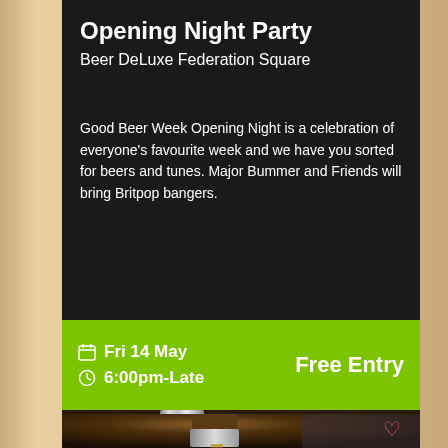Opening Night Party
Beer DeLuxe Federation Square
Good Beer Week Opening Night is a celebration of everyone's favourite week and we have you sorted for beers and tunes. Major Bummer and Friends will bring Britpop bangers.
Fri 14 May
6:00pm-Late
Free Entry
[Figure (photo): Photo of beer being poured from a tap into a glass]